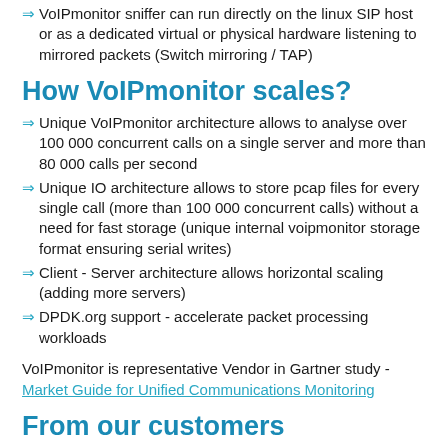VoIPmonitor sniffer can run directly on the linux SIP host or as a dedicated virtual or physical hardware listening to mirrored packets (Switch mirroring / TAP)
How VoIPmonitor scales?
Unique VoIPmonitor architecture allows to analyse over 100 000 concurrent calls on a single server and more than 80 000 calls per second
Unique IO architecture allows to store pcap files for every single call (more than 100 000 concurrent calls) without a need for fast storage (unique internal voipmonitor storage format ensuring serial writes)
Client - Server architecture allows horizontal scaling (adding more servers)
DPDK.org support - accelerate packet processing workloads
VoIPmonitor is representative Vendor in Gartner study - Market Guide for Unified Communications Monitoring
From our customers
"We have found VoIPmonitor to be an essential tool for our customer VoIP troubleshooting. Before VoIPmonitor it would